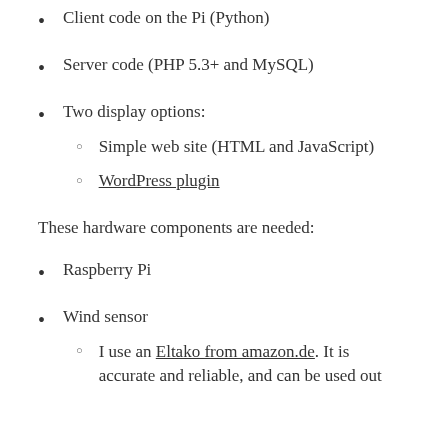Client code on the Pi (Python)
Server code (PHP 5.3+ and MySQL)
Two display options:
Simple web site (HTML and JavaScript)
WordPress plugin
These hardware components are needed:
Raspberry Pi
Wind sensor
I use an Eltako from amazon.de. It is accurate and reliable, and can be used out